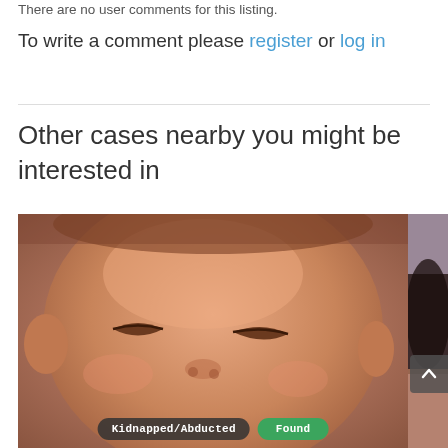There are no user comments for this listing.
To write a comment please register or log in
Other cases nearby you might be interested in
[Figure (photo): Close-up photo of a baby's face, partially blurred. Two overlay badges at the bottom read 'Kidnapped/Abducted' (dark pill) and 'Found' (green pill). A partially visible second image appears to the right.]